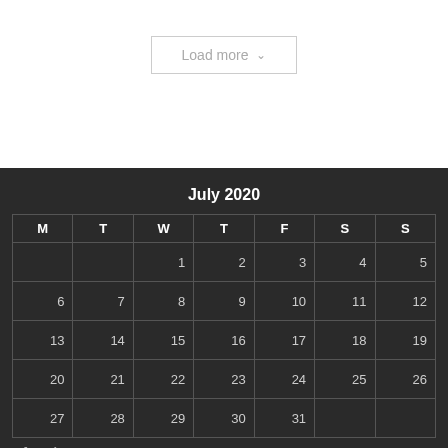Load more ▾
July 2020
| M | T | W | T | F | S | S |
| --- | --- | --- | --- | --- | --- | --- |
|  |  | 1 | 2 | 3 | 4 | 5 |
| 6 | 7 | 8 | 9 | 10 | 11 | 12 |
| 13 | 14 | 15 | 16 | 17 | 18 | 19 |
| 20 | 21 | 22 | 23 | 24 | 25 | 26 |
| 27 | 28 | 29 | 30 | 31 |  |  |
« Jun   Aug »